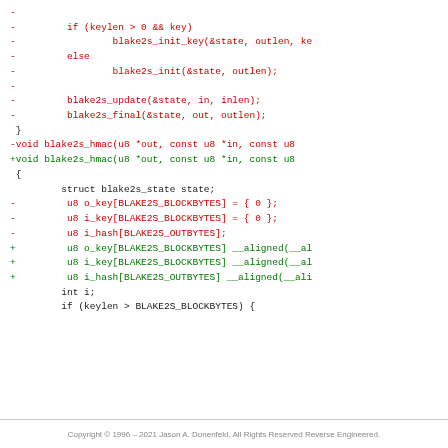[Figure (other): Code diff showing changes to blake2s functions. Red lines are removals, green lines are additions, black lines are context.]
Copyright © 1996 – 2021 Jason A. Donenfeld. All Rights Reserved Reverse Engineered.